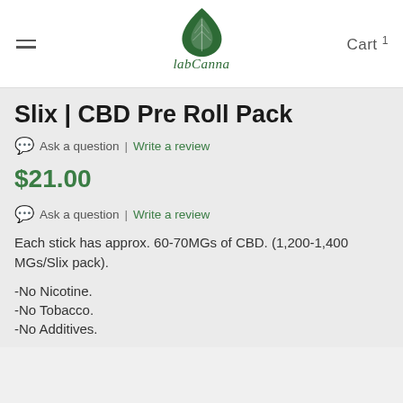LabCanna — Cart 1
Slix | CBD Pre Roll Pack
Ask a question | Write a review
$21.00
Ask a question | Write a review
Each stick has approx. 60-70MGs of CBD. (1,200-1,400 MGs/Slix pack).
-No Nicotine.
-No Tobacco.
-No Additives.